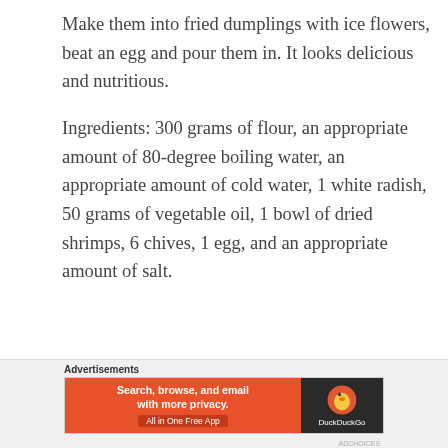Make them into fried dumplings with ice flowers, beat an egg and pour them in. It looks delicious and nutritious.
Ingredients: 300 grams of flour, an appropriate amount of 80-degree boiling water, an appropriate amount of cold water, 1 white radish, 50 grams of vegetable oil, 1 bowl of dried shrimps, 6 chives, 1 egg, and an appropriate amount of salt.
Advertisements